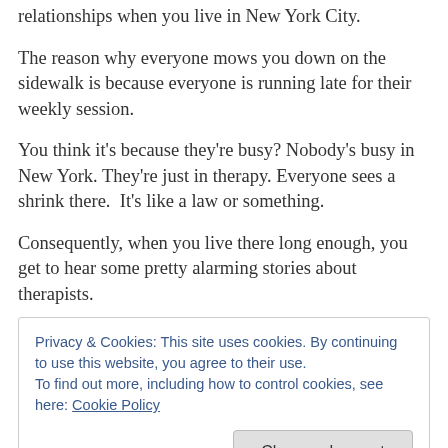relationships when you live in New York City.
The reason why everyone mows you down on the sidewalk is because everyone is running late for their weekly session.
You think it's because they're busy? Nobody's busy in New York. They're just in therapy. Everyone sees a shrink there.  It's like a law or something.
Consequently, when you live there long enough, you get to hear some pretty alarming stories about therapists.
Privacy & Cookies: This site uses cookies. By continuing to use this website, you agree to their use.
To find out more, including how to control cookies, see here: Cookie Policy
your GP. Then there is the creme de la creme. It's the